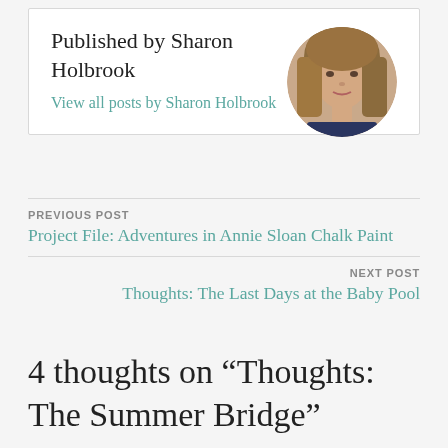Published by Sharon Holbrook
View all posts by Sharon Holbrook
[Figure (photo): Circular profile photo of Sharon Holbrook, a woman with long blonde hair]
PREVIOUS POST
Project File: Adventures in Annie Sloan Chalk Paint
NEXT POST
Thoughts: The Last Days at the Baby Pool
4 thoughts on “Thoughts: The Summer Bridge”